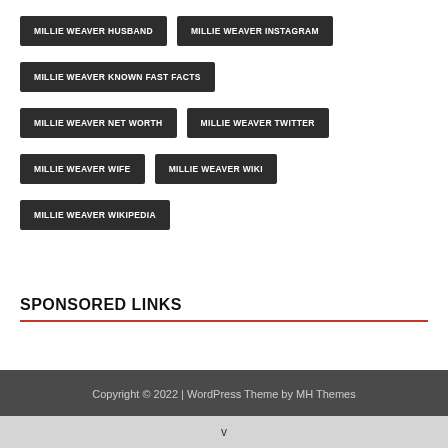MILLIE WEAVER HUSBAND
MILLIE WEAVER INSTAGRAM
MILLIE WEAVER KNOWN FAST FACTS
MILLIE WEAVER NET WORTH
MILLIE WEAVER TWITTER
MILLIE WEAVER WIFE
MILLIE WEAVER WIKI
MILLIE WEAVER WIKIPEDIA
SPONSORED LINKS
Copyright © 2022 | WordPress Theme by MH Themes
v